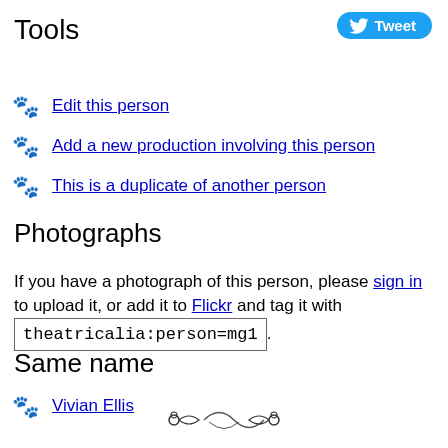Tools
Edit this person
Add a new production involving this person
This is a duplicate of another person
Photographs
If you have a photograph of this person, please sign in to upload it, or add it to Flickr and tag it with theatricalia:person=mg1.
Same name
Vivian Ellis
[Figure (illustration): Decorative ornamental divider at bottom of page]